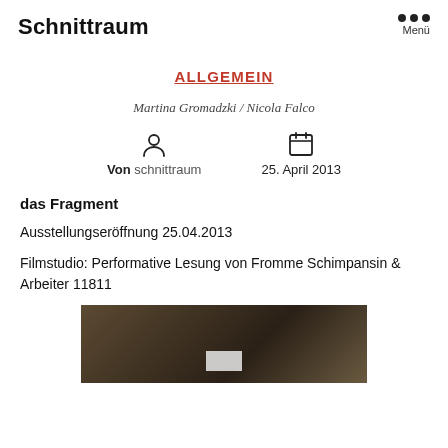Schnittraum
ALLGEMEIN
Martina Gromadzki / Nicola Falco
Von schnittraum   25. April 2013
das Fragment
Ausstellungseröffnung 25.04.2013
Filmstudio: Performative Lesung von Fromme Schimpansin & Arbeiter 11811
[Figure (photo): Dark interior room photo, partially visible, brown/dark tones with a small white rectangle at bottom center]